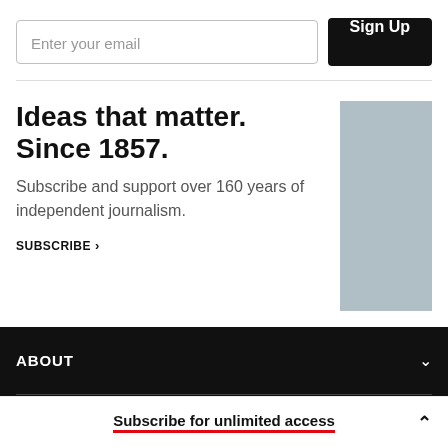Enter your email
Sign Up
Ideas that matter. Since 1857.
Subscribe and support over 160 years of independent journalism.
SUBSCRIBE ›
[Figure (illustration): Light blue-grey placeholder image rectangle]
ABOUT
CONTACT
Subscribe for unlimited access